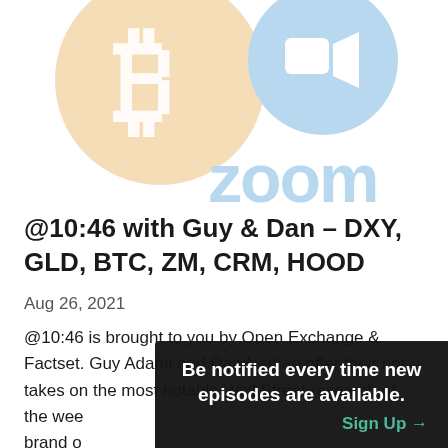[Figure (logo): Bitcoin logo (orange circle with white B symbol) and Zoom logo (light blue circle with camera icon and 'zoom' text)]
@10:46 with Guy & Dan – DXY, GLD, BTC, ZM, CRM, HOOD
Aug 26, 2021
@10:46 is brought to you by Open Exchange & Factset. Guy Adami and Dan Nathan offer their hot takes on the most notable Wall Street research of the wee brand o the bull/
Be notified every time new episodes are available. Sign Up →